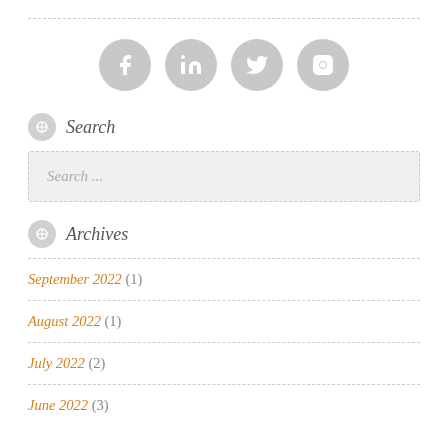[Figure (other): Four social media icon circles (Facebook, LinkedIn, Twitter, Instagram) in gray]
Search
Search ...
Archives
September 2022 (1)
August 2022 (1)
July 2022 (2)
June 2022 (3)